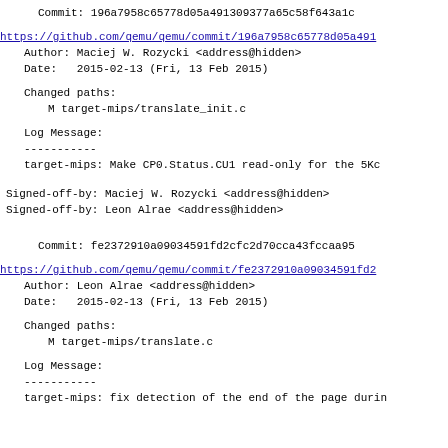Commit: 196a7958c65778d05a491309377a65c58f643a1c
https://github.com/qemu/qemu/commit/196a7958c65778d05a491
    Author: Maciej W. Rozycki <address@hidden>
    Date:   2015-02-13 (Fri, 13 Feb 2015)

    Changed paths:
      M target-mips/translate_init.c

    Log Message:
    -----------
    target-mips: Make CP0.Status.CU1 read-only for the 5Kc
Signed-off-by: Maciej W. Rozycki <address@hidden>
Signed-off-by: Leon Alrae <address@hidden>
Commit: fe2372910a09034591fd2cfc2d70cca43fccaa95
https://github.com/qemu/qemu/commit/fe2372910a09034591fd2
    Author: Leon Alrae <address@hidden>
    Date:   2015-02-13 (Fri, 13 Feb 2015)

    Changed paths:
      M target-mips/translate.c

    Log Message:
    -----------
    target-mips: fix detection of the end of the page durin